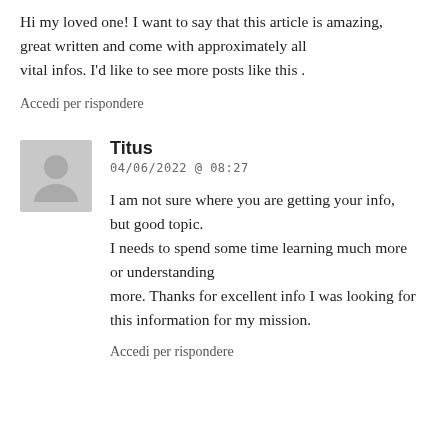Hi my loved one! I want to say that this article is amazing,
great written and come with approximately all vital infos. I'd like to see more posts like this .
Accedi per rispondere
Titus
04/06/2022 @ 08:27
I am not sure where you are getting your info, but good topic.
I needs to spend some time learning much more or understanding
more. Thanks for excellent info I was looking for this information for my mission.
Accedi per rispondere